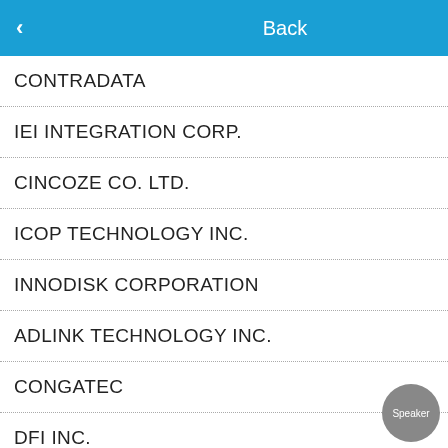< Back
CONTRADATA
IEI INTEGRATION CORP.
CINCOZE CO. LTD.
ICOP TECHNOLOGY INC.
INNODISK CORPORATION
ADLINK TECHNOLOGY INC.
CONGATEC
DFI INC.
o tecnologie , anche per . Il rifiuto del funzioni. amite il di questa di fuori di altro modo. ccettare.
ccetta
a
OD  LED,  Speaker, on)